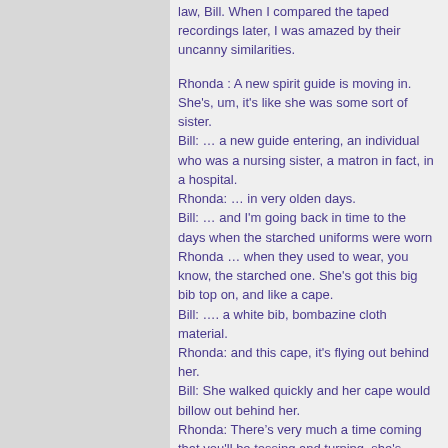law, Bill. When I compared the taped recordings later, I was amazed by their uncanny similarities.

Rhonda : A new spirit guide is moving in. She's, um, it's like she was some sort of sister.
Bill: … a new guide entering, an individual who was a nursing sister, a matron in fact, in a hospital.
Rhonda: … in very olden days.
Bill: … and I'm going back in time to the days when the starched uniforms were worn
Rhonda … when they used to wear, you know, the starched one. She's got this big bib top on, and like a cape.
Bill: …. a white bib, bombazine cloth material.
Rhonda: and this cape, it's flying out behind her.
Bill: She walked quickly and her cape would billow out behind her.
Rhonda: There's very much a time coming that you'll be tossing and turning, she's saying that